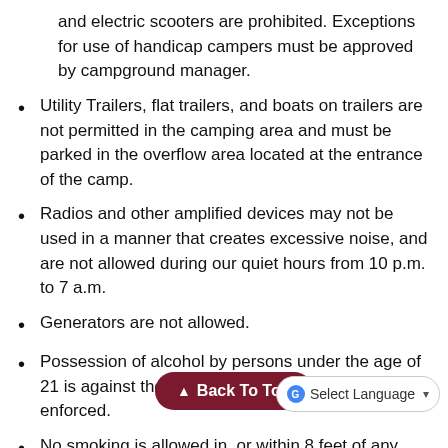and electric scooters are prohibited. Exceptions for use of handicap campers must be approved by campground manager.
Utility Trailers, flat trailers, and boats on trailers are not permitted in the camping area and must be parked in the overflow area located at the entrance of the camp.
Radios and other amplified devices may not be used in a manner that creates excessive noise, and are not allowed during our quiet hours from 10 p.m. to 7 a.m.
Generators are not allowed.
Possession of alcohol by persons under the age of 21 is against the law in Indiana; and will be enforced.
No smoking is allowed in, or within 8 feet of any campground building or shelter.
Illegal dr... hunting, or fireworks are not permitted within the campground. Discharge of firearms, air guns,